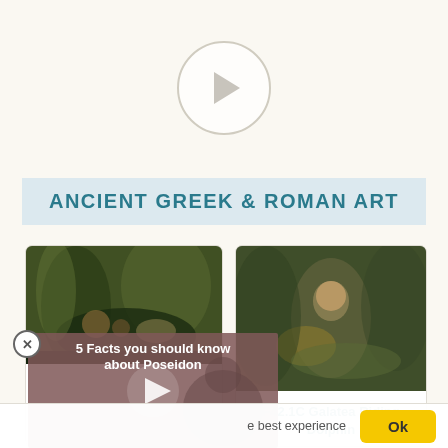[Figure (other): Video play button circle with triangular play icon on cream background]
ANCIENT GREEK & ROMAN ART
[Figure (photo): Dark oil painting depicting figures in a forest scene, ancient Greek/Roman art]
[Figure (photo): Ancient Roman painting of F42.1C Galatea Riding Dolphin - woman riding a dolphin]
F42.1C Galatea Riding Dolphin
[Figure (screenshot): Video overlay thumbnail with text '5 Facts you should know about Poseidon' with play button]
e best experience
Ok